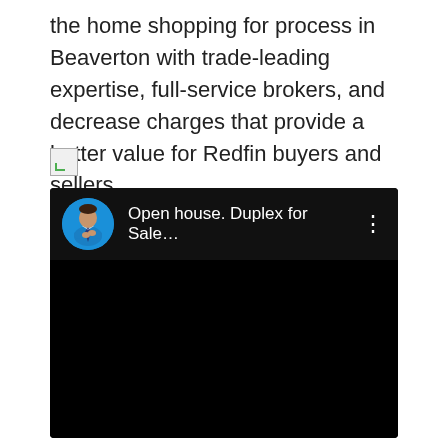the home shopping for process in Beaverton with trade-leading expertise, full-service brokers, and decrease charges that provide a better value for Redfin buyers and sellers.
[Figure (other): Broken/placeholder image icon]
[Figure (screenshot): Embedded video player showing 'Open house. Duplex for Sale...' with a circular avatar of a man in a blue shirt with arms crossed, three-dot menu icon, and a black video frame below.]